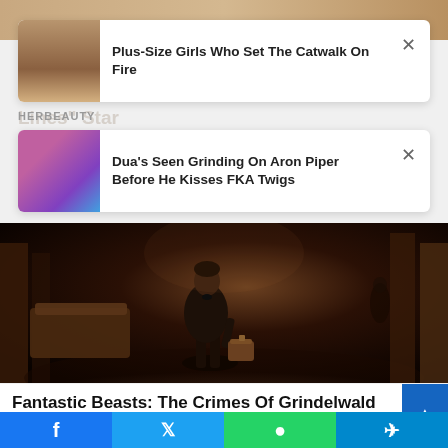[Figure (photo): Top strip showing models/fashion image at page top]
Plus-Size Girls Who Set The Catwalk On Fire
HERBEAUTY
Dua's Seen Grinding On Aron Piper Before He Kisses FKA Twigs
[Figure (photo): Movie still from Fantastic Beasts: The Crimes of Grindelwald showing Newt Scamander in a grand hall holding a suitcase]
Fantastic Beasts: The Crimes Of Grindelwald That Make No Sense